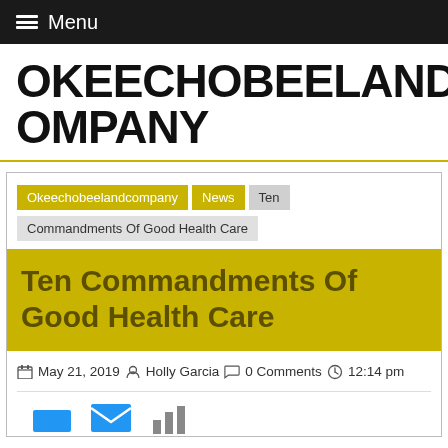Menu
OKEECHOBEELANDCOMPANY
Okeechobeelandcompany > News > Ten Commandments Of Good Health Care
Ten Commandments Of Good Health Care
May 21, 2019   Holly Garcia   0 Comments   12:14 pm